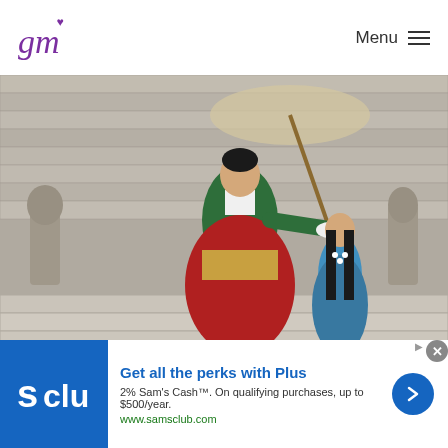gm Menu
[Figure (photo): Two women in traditional Korean hanbok costume standing on stone steps. One taller woman in green and red hanbok holds an umbrella/parasol on a stick extended toward a shorter figure dressed in blue and black.]
Kim Hye Soo’s Upcoming Drama “The Queen’s Umbrella” Unveils Magnificent
[Figure (other): Sam's Club advertisement banner. Blue logo on left with 's clu' text. White content area with 'Get all the perks with Plus' headline, '2% Sam’s Cash™. On qualifying purchases, up to $500/year.' subtext, 'www.samsclub.com' URL, and blue arrow button on right. Close X button in top right corner.]